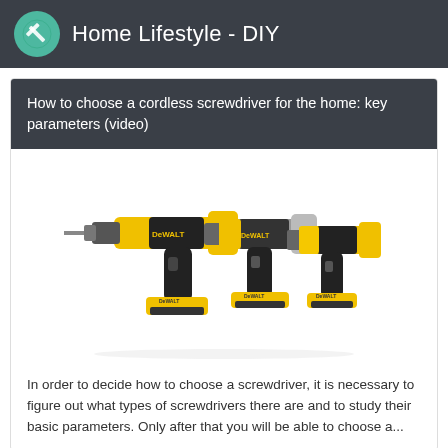Home Lifestyle - DIY
How to choose a cordless screwdriver for the home: key parameters (video)
[Figure (photo): Three DeWalt cordless screwdrivers/drills arranged side by side, yellow and black color scheme, with battery packs attached at the base.]
In order to decide how to choose a screwdriver, it is necessary to figure out what types of screwdrivers there are and to study their basic parameters. Only after that you will be able to choose a...
Read More →